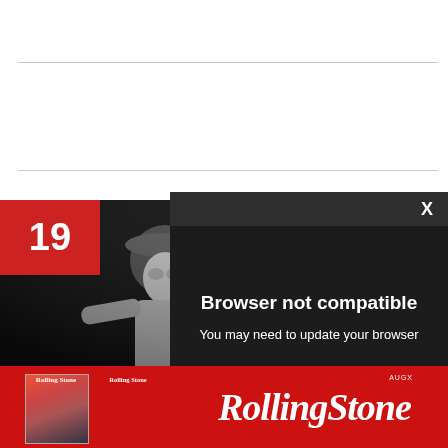[Figure (screenshot): White background area with two thin horizontal gray dividing lines]
[Figure (photo): Black and white photo of a performer on stage, partially visible on the left side behind modal overlay]
19
[Figure (screenshot): Browser error modal dialog with dark background overlay showing 'Browser not compatible' message with close X button]
Browser not compatible
You may need to update your browser
Report ID: 1gbl0vj1s36p1r472cb
[Figure (logo): Rolling Stone magazine subscription banner advertisement in red with magazine cover image and Rolling Stone logo]